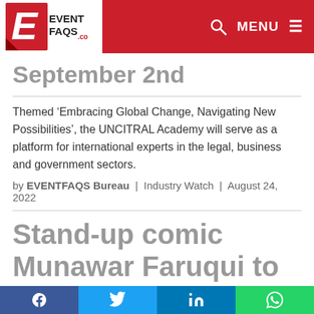EVENTFAQS.com | MENU
September 2nd
Themed ‘Embracing Global Change, Navigating New Possibilities’, the UNCITRAL Academy will serve as a platform for international experts in the legal, business and government sectors.
by EVENTFAQS Bureau | Industry Watch | August 24, 2022
Stand-up comic Munawar Faruqui to perform in Kolkata and Delhi
Facebook | Twitter | LinkedIn | WhatsApp